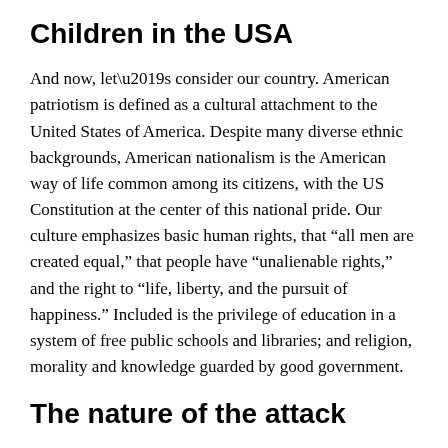Children in the USA
And now, let’s consider our country. American patriotism is defined as a cultural attachment to the United States of America. Despite many diverse ethnic backgrounds, American nationalism is the American way of life common among its citizens, with the US Constitution at the center of this national pride. Our culture emphasizes basic human rights, that “all men are created equal,” that people have “unalienable rights,” and the right to “life, liberty, and the pursuit of happiness.” Included is the privilege of education in a system of free public schools and libraries; and religion, morality and knowledge guarded by good government.
The nature of the attack
There is now a major attack, a war, against morality, focused on and raging against our children, systematized